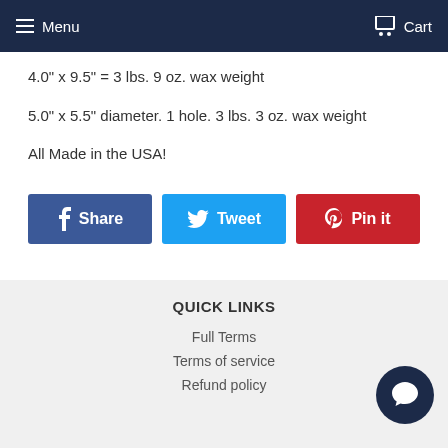Menu  Cart
4.0" x 9.5" = 3 lbs. 9 oz. wax weight
5.0" x 5.5" diameter. 1 hole. 3 lbs. 3 oz. wax weight
All Made in the USA!
[Figure (other): Three social sharing buttons: Share (Facebook, blue), Tweet (Twitter, cyan), Pin it (Pinterest, red)]
QUICK LINKS
Full Terms
Terms of service
Refund policy